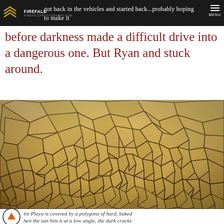got back in the vehicles and started back...probably hoping to make it before darkness made a difficult drive into a dangerous one. But Ryan and stuck around. MENU
before darkness made a difficult drive into a dangerous one. But Ryan and stuck around.
[Figure (photo): Close-up photograph of cracked, dry desert playa ground showing polygonal mud cracks covering the entire frame in warm golden-brown tones]
ire Playa is covered by a polygons of hard, baked hen the sun hits it at a low angle, the dark cracks really pop.